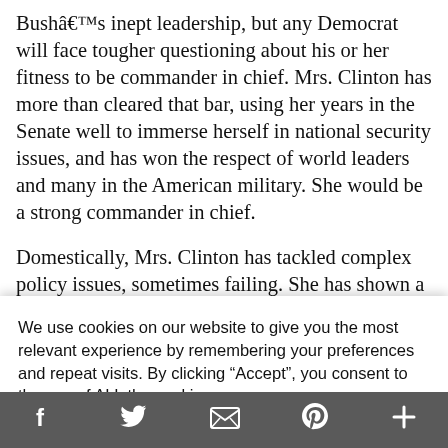Bushâ€™s inept leadership, but any Democrat will face tougher questioning about his or her fitness to be commander in chief. Mrs. Clinton has more than cleared that bar, using her years in the Senate well to immerse herself in national security issues, and has won the respect of world leaders and many in the American military. She would be a strong commander in chief.
Domestically, Mrs. Clinton has tackled complex policy issues, sometimes failing. She has shown a willingness to learn and change. Her current
We use cookies on our website to give you the most relevant experience by remembering your preferences and repeat visits. By clicking "Accept", you consent to the use of ALL the cookies.
Do not sell my personal information